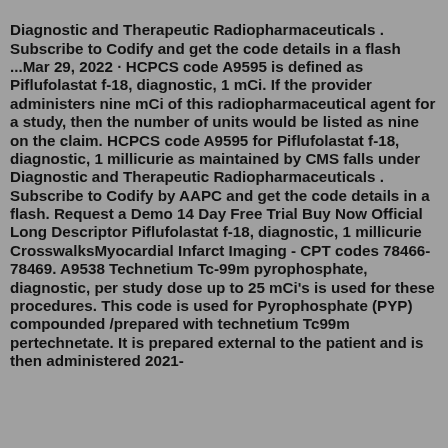Diagnostic and Therapeutic Radiopharmaceuticals . Subscribe to Codify and get the code details in a flash ...Mar 29, 2022 · HCPCS code A9595 is defined as Piflufolastat f-18, diagnostic, 1 mCi. If the provider administers nine mCi of this radiopharmaceutical agent for a study, then the number of units would be listed as nine on the claim. HCPCS code A9595 for Piflufolastat f-18, diagnostic, 1 millicurie as maintained by CMS falls under Diagnostic and Therapeutic Radiopharmaceuticals . Subscribe to Codify by AAPC and get the code details in a flash. Request a Demo 14 Day Free Trial Buy Now Official Long Descriptor Piflufolastat f-18, diagnostic, 1 millicurie CrosswalksMyocardial Infarct Imaging - CPT codes 78466-78469. A9538 Technetium Tc-99m pyrophosphate, diagnostic, per study dose up to 25 mCi's is used for these procedures. This code is used for Pyrophosphate (PYP) compounded /prepared with technetium Tc99m pertechnetate. It is prepared external to the patient and is then administered 2021-